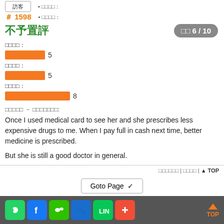# 1598
不予置評
綜合評分 6 / 10
服務態度：5
等候時間：5
診症時間：8
病人評語 - 給醫生的說話:
Once I used medical card to see her and she prescribes less expensive drugs to me. When I pay full in cash next time, better medicine is prescribed.

But she is still a good doctor in general.
檢舉此留言 | 回應留言 | ▲ TOP
Goto Page
Social share icons and TOP button